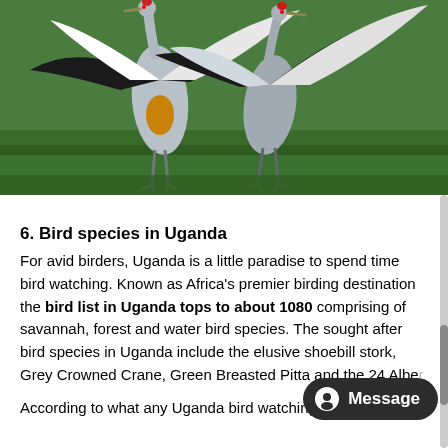[Figure (photo): Two Grey Crowned Cranes with wings spread wide, standing on green grass. The birds display dramatic wing-spreading behavior with black, white, and brown-gold plumage against a green grass background.]
6. Bird species in Uganda
For avid birders, Uganda is a little paradise to spend time bird watching. Known as Africa's premier birding destination the bird list in Uganda tops to about 1080 comprising of savannah, forest and water bird species. The sought after bird species in Uganda include the elusive shoebill stork, Grey Crowned Crane, Green Breasted Pitta and the 24 Albe...
According to what any Uganda bird watching